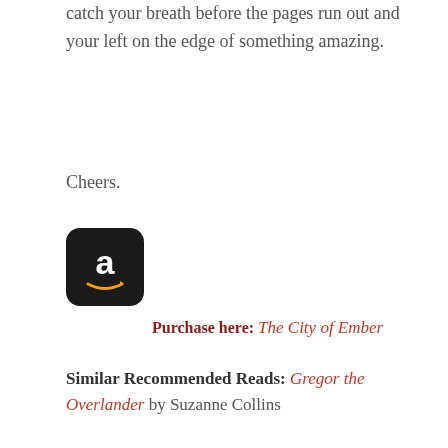catch your breath before the pages run out and your left on the edge of something amazing.
Cheers.
[Figure (logo): Amazon app icon: black rounded square with white lowercase 'a' and orange arrow smile logo]
Purchase here: The City of Ember
Similar Recommended Reads: Gregor the Overlander by Suzanne Collins
Meet Jeanne DuPrau!
[Figure (photo): Partial photo of author Jeanne DuPrau, cropped at bottom of page]